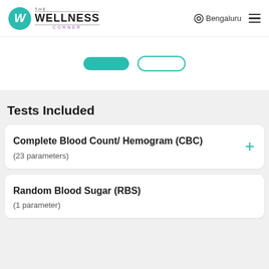The Wellness Corner — Bengaluru
[Figure (screenshot): Two buttons: one teal filled, one teal outlined]
Tests Included
Complete Blood Count/ Hemogram (CBC)
(23 parameters)
Random Blood Sugar (RBS)
(1 parameter)